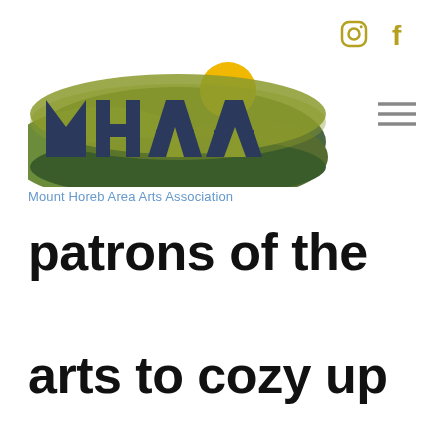[Figure (logo): Mount Horeb Area Arts Association logo with stylized M H A A letters over green hills and a yellow sun, with the text 'Mount Horeb Area Arts Association' below]
patrons of the arts to cozy up with a piece of art that takes you to a warm,